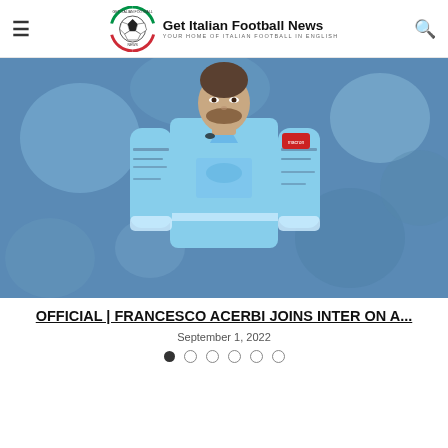Get Italian Football News — YOUR HOME OF ITALIAN FOOTBALL IN ENGLISH
[Figure (photo): A football player wearing a light blue (sky blue) Lazio jersey with tattoos on his arms, photographed on a stadium pitch with a blurred background.]
OFFICIAL | FRANCESCO ACERBI JOINS INTER ON A...
September 1, 2022